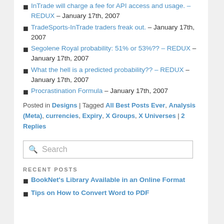InTrade will charge a fee for API access and usage. – REDUX – January 17th, 2007
TradeSports-InTrade traders freak out. – January 17th, 2007
Segolene Royal probability: 51% or 53%?? – REDUX – January 17th, 2007
What the hell is a predicted probability?? – REDUX – January 17th, 2007
Procrastination Formula – January 17th, 2007
Posted in Designs | Tagged All Best Posts Ever, Analysis (Meta), currencies, Expiry, X Groups, X Universes | 2 Replies
Search
RECENT POSTS
BookNet's Library Available in an Online Format
Tips on How to Convert Word to PDF